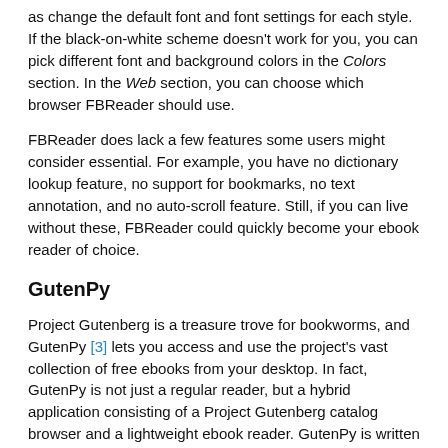as change the default font and font settings for each style. If the black-on-white scheme doesn't work for you, you can pick different font and background colors in the Colors section. In the Web section, you can choose which browser FBReader should use.
FBReader does lack a few features some users might consider essential. For example, you have no dictionary lookup feature, no support for bookmarks, no text annotation, and no auto-scroll feature. Still, if you can live without these, FBReader could quickly become your ebook reader of choice.
GutenPy
Project Gutenberg is a treasure trove for bookworms, and GutenPy [3] lets you access and use the project's vast collection of free ebooks from your desktop. In fact, GutenPy is not just a regular reader, but a hybrid application consisting of a Project Gutenberg catalog browser and a lightweight ebook reader. GutenPy is written in Python, and the project's website provides a .deb package for Debian-based distributions, along with a tar.gz archive for other distros. Installing the tarball is not too difficult: Unpack the archive, then open a terminal window, and, in the newly created directory, run python setup.py install as root.